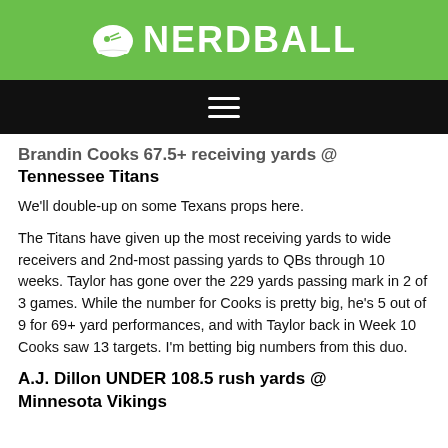🏈 NERDBALL
Brandin Cooks 67.5+ receiving yards @ Tennessee Titans
We'll double-up on some Texans props here.
The Titans have given up the most receiving yards to wide receivers and 2nd-most passing yards to QBs through 10 weeks. Taylor has gone over the 229 yards passing mark in 2 of 3 games. While the number for Cooks is pretty big, he's 5 out of 9 for 69+ yard performances, and with Taylor back in Week 10 Cooks saw 13 targets. I'm betting big numbers from this duo.
A.J. Dillon UNDER 108.5 rush yards @ Minnesota Vikings